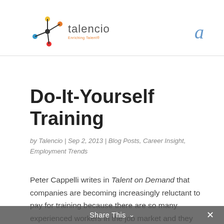talencio | Enriching Talent
Do-It-Yourself Training
by Talencio | Sep 2, 2013 | Blog Posts, Career Insight, Employment Trends
Peter Cappelli writes in Talent on Demand that companies are becoming increasingly reluctant to pay for training because there are so many experienced workers in the job market and they figure employees who have been trained are more likely to leave after training. (Training of upper management is the one exception to this new trend.) This is a big change from the days when